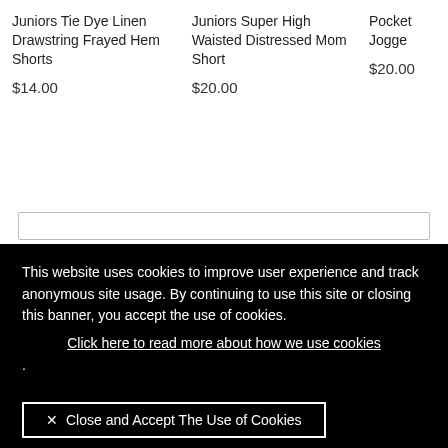Juniors Tie Dye Linen Drawstring Frayed Hem Shorts
$14.00
Juniors Super High Waisted Distressed Mom Short
$20.00
Pocket Jogge
$20.00
This website uses cookies to improve user experience and track anonymous site usage. By continuing to use this site or closing this banner, you accept the use of cookies.
Click here to read more about how we use cookies
.
× Close and Accept The Use of Cookies